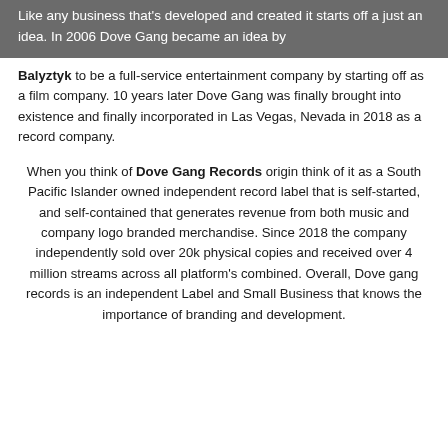Like any business that's developed and created it starts off a just an idea. In 2006 Dove Gang became an idea by
Balyztyk to be a full-service entertainment company by starting off as a film company. 10 years later Dove Gang was finally brought into existence and finally incorporated in Las Vegas, Nevada in 2018 as a record company.
When you think of Dove Gang Records origin think of it as a South Pacific Islander owned independent record label that is self-started, and self-contained that generates revenue from both music and company logo branded merchandise. Since 2018 the company independently sold over 20k physical copies and received over 4 million streams across all platform's combined. Overall, Dove gang records is an independent Label and Small Business that knows the importance of branding and development.